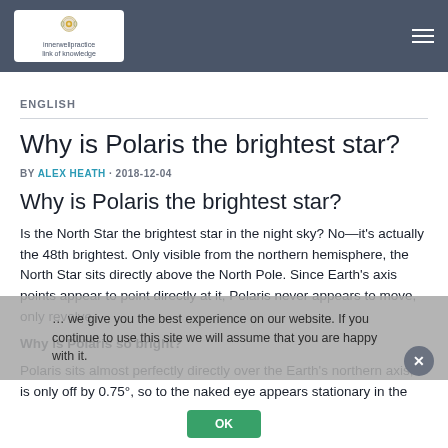innerwellpractice link of knowledge — navigation
ENGLISH
Why is Polaris the brightest star?
BY ALEX HEATH · 2018-12-04
Why is Polaris the brightest star?
Is the North Star the brightest star in the night sky? No—it's actually the 48th brightest. Only visible from the northern hemisphere, the North Star sits directly above the North Pole. Since Earth's axis points appear to point directly at it, Polaris never appears to move, only revolve.
Why is Polaris so bright?
Polaris sits almost perfectly directly over the Earth's northern axis, it is only off by 0.75°, so to the naked eye appears stationary in the